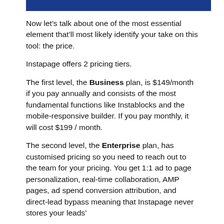[Figure (other): Blue horizontal bar/banner at top of page]
Now let’s talk about one of the most essential element that’ll most likely identify your take on this tool: the price.
Instapage offers 2 pricing tiers.
The first level, the Business plan, is $149/month if you pay annually and consists of the most fundamental functions like Instablocks and the mobile-responsive builder. If you pay monthly, it will cost $199 / month.
The second level, the Enterprise plan, has customised pricing so you need to reach out to the team for your pricing. You get 1:1 ad to page personalization, real-time collaboration, AMP pages, ad spend conversion attribution, and direct-lead bypass meaning that Instapage never stores your leads’